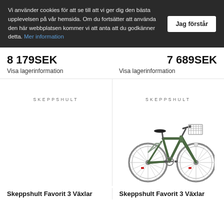Vi använder cookies för att se till att vi ger dig den bästa upplevelsen på vår hemsida. Om du fortsätter att använda den här webbplatsen kommer vi att anta att du godkänner detta. Mer information
Jag förstår
8 179SEK
Visa lagerinformation
7 689SEK
Visa lagerinformation
SKEPPSHULT
SKEPPSHULT
[Figure (photo): A green Skeppshult city bicycle with rear rack, front basket, and classic frame styling]
Skeppshult Favorit 3 Växlar
Skeppshult Favorit 3 Växlar